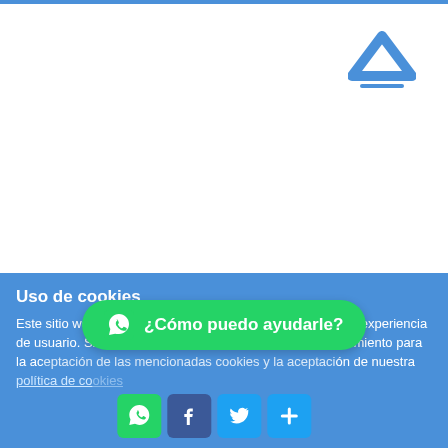[Figure (screenshot): Thin blue horizontal bar at top of page]
[Figure (illustration): Blue upward chevron/caret icon with a short horizontal line beneath, representing a back-to-top button in the upper right area]
Uso de cookies
Este sitio web utiliza cookies para que usted tenga la mejor experiencia de usuario. Si continúa navegando está dando su consentimiento para la aceptación de las mencionadas cookies y la aceptación de nuestra política de cookies
[Figure (screenshot): Green rounded WhatsApp button with WhatsApp icon and text '¿Cómo puedo ayudarle?']
[Figure (screenshot): Row of social sharing icons: WhatsApp (green), Facebook (blue), Twitter/X (light blue), and a plus/share button (light blue)]